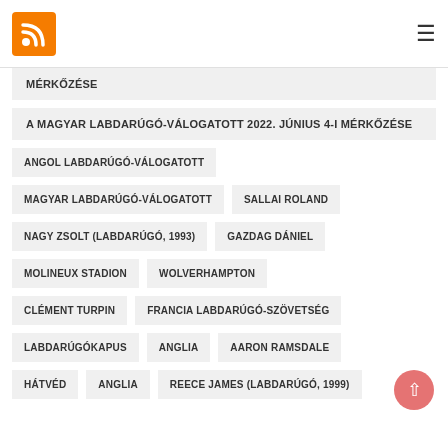RSS feed icon and hamburger menu
MÉRKŐZÉSE
A MAGYAR LABDARÚGÓ-VÁLOGATOTT 2022. JÚNIUS 4-I MÉRKŐZÉSE
ANGOL LABDARÚGÓ-VÁLOGATOTT
MAGYAR LABDARÚGÓ-VÁLOGATOTT
SALLAI ROLAND
NAGY ZSOLT (LABDARÚGÓ, 1993)
GAZDAG DÁNIEL
MOLINEUX STADION
WOLVERHAMPTON
CLÉMENT TURPIN
FRANCIA LABDARÚGÓ-SZÖVETSÉG
LABDARÚGÓKAPUS
ANGLIA
AARON RAMSDALE
HÁTVÉD
ANGLIA
REECE JAMES (LABDARÚGÓ, 1999)